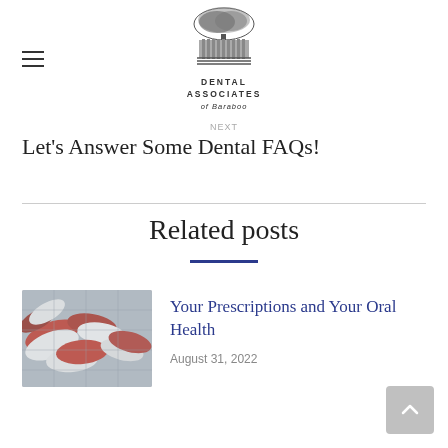[Figure (logo): Dental Associates of Baraboo logo with tree and building illustration]
NEXT
Let's Answer Some Dental FAQs!
Related posts
[Figure (photo): Close-up photo of red and white prescription capsule pills in blister packaging]
Your Prescriptions and Your Oral Health
August 31, 2022